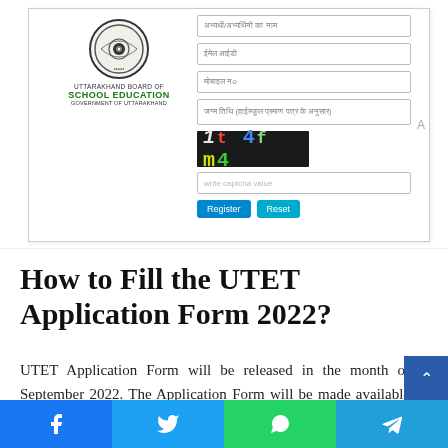[Figure (screenshot): Screenshot of UTET registration form on Uttarakhand Board of School Education website, showing input fields for name, email, mobile number, date of birth, a CAPTCHA image reading '1t4fm4', a captcha input field, and Register/Reset buttons. The UBSE logo is shown on the left.]
How to Fill the UTET Application Form 2022?
UTET Application Form will be released in the month of September 2022. The Application Form will be made available through Online Mode. Check the below steps to fill the UTET 2022 Application Form in Online Mode.